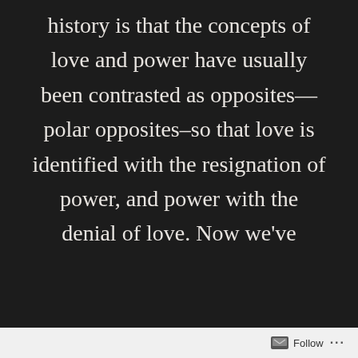history is that the concepts of love and power have usually been contrasted as opposites—polar opposites—so that love is identified with the resignation of power, and power with the denial of love. Now we've
Follow ...